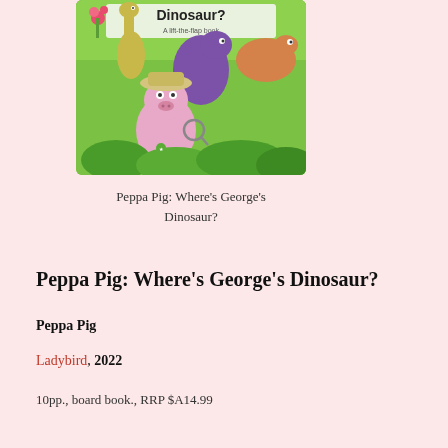[Figure (illustration): Book cover of 'Peppa Pig: Where's George's Dinosaur?' showing Peppa Pig character wearing explorer hat and holding magnifying glass, surrounded by colourful cartoon dinosaurs on a green jungle background. Text at top reads 'Dinosaur? A lift-the-flap book'.]
Peppa Pig: Where's George's Dinosaur?
Peppa Pig: Where's George's Dinosaur?
Peppa Pig
Ladybird, 2022
10pp., board book., RRP $A14.99